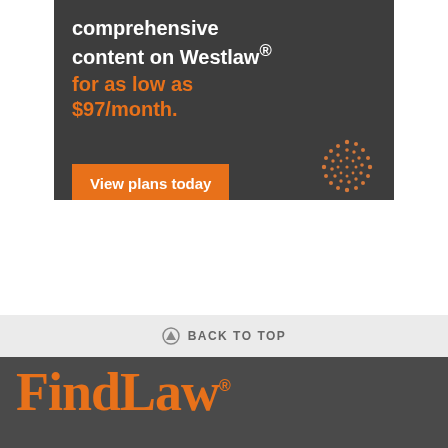[Figure (infographic): Thomson Reuters advertisement banner on dark gray background. Text reads 'comprehensive content on Westlaw® for as low as $97/month.' with an orange 'View plans today' button and Thomson Reuters dot-circle logo.]
BACK TO TOP
[Figure (logo): FindLaw logo in orange on dark gray background with registered trademark symbol]